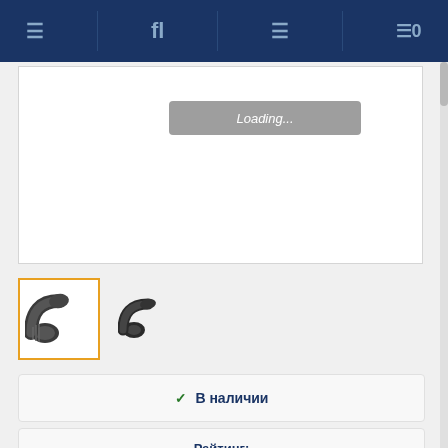Navigation bar with icons
[Figure (screenshot): Loading overlay on product image area showing 'Loading...' text in gray box]
[Figure (photo): Thumbnail of pipe fitting / elbow connector part, selected with orange border]
[Figure (photo): Second thumbnail of similar pipe fitting part, smaller view]
✓ В наличии
Рейтинг:
✎ Оставить отзыв